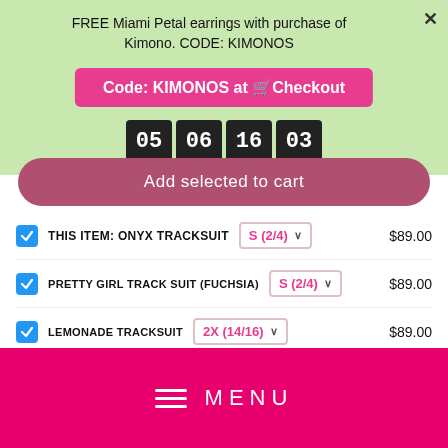FREE Miami Petal earrings with purchase of Kimono. CODE: KIMONOS
Code: KIMONOS at 🛒Checkout
05 DAY  06 HR  16 MIN  03 SEC
Add selected to cart
THIS ITEM: ONYX TRACKSUIT  S (2/4)  $89.00
PRETTY GIRL TRACK SUIT (FUCHSIA)  S (2/4)  $89.00
LEMONADE TRACKSUIT  2X (14/16)  $89.00
TRACK STAR TRACKSUIT  S (2/4)  $89.00
MENU